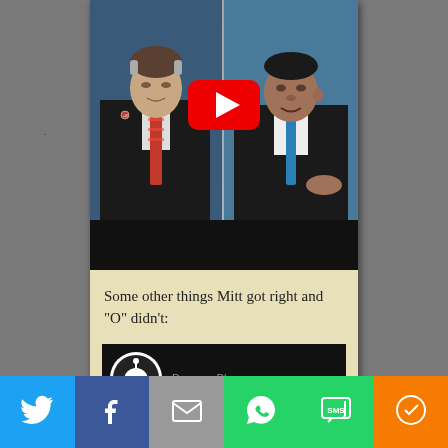[Figure (screenshot): YouTube video thumbnail showing two men (Romney left, Obama right) at a debate, with a red YouTube play button overlaid in the center, and a black letterbox bar at the bottom.]
Some other things Mitt got right and "O" didn't:
[Figure (screenshot): Second video thumbnail with dark background and a circular WIB logo on the left, partially visible text to the right.]
[Figure (infographic): Social sharing bar at the bottom with buttons for Twitter, Facebook, Email, WhatsApp, SMS, and More (orange).]